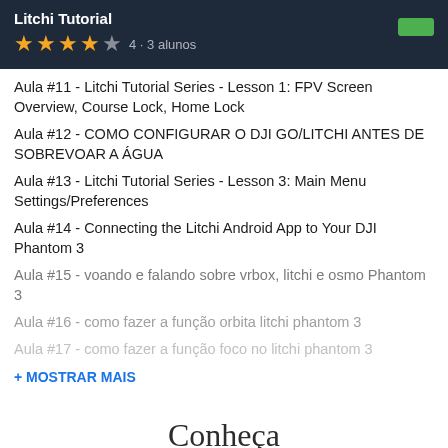Litchi Tutorial
Aula #11 - Litchi Tutorial Series - Lesson 1: FPV Screen Overview, Course Lock, Home Lock
Aula #12 - COMO CONFIGURAR O DJI GO/LITCHI ANTES DE SOBREVOAR A ÁGUA
Aula #13 - Litchi Tutorial Series - Lesson 3: Main Menu Settings/Preferences
Aula #14 - Connecting the Litchi Android App to Your DJI Phantom 3
Aula #15 - voando e falando sobre vrbox, litchi e osmo Phantom 3
Aula #16 - como fazer a função orbita litchi phantom 3
Aula #17 - como fazer a função foco no litchi phantom 3
+ MOSTRAR MAIS
Conheça
o responsável: